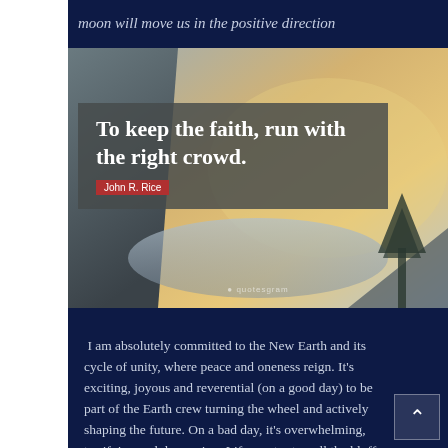moon will move us in the positive direction
[Figure (photo): Mountain landscape with dramatic cliffs and warm sunset sky, overlaid with a quote: 'To keep the faith, run with the right crowd.' attributed to John R. Rice]
John R. Rice
I am absolutely committed to the New Earth and its cycle of unity, where peace and oneness reign. It's exciting, joyous and reverential (on a good day) to be part of the Earth crew turning the wheel and actively shaping the future. On a bad day, it's overwhelming, terrifying and depressing. Life can try to pull the bluff on